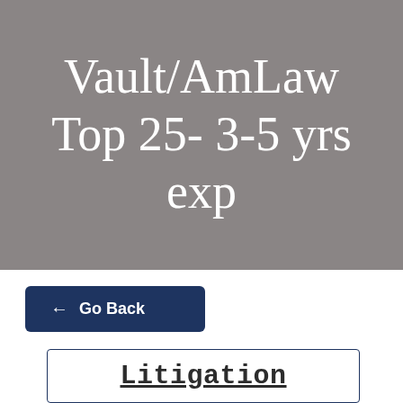Vault/AmLaw Top 25- 3-5 yrs exp
← Go Back
Litigation